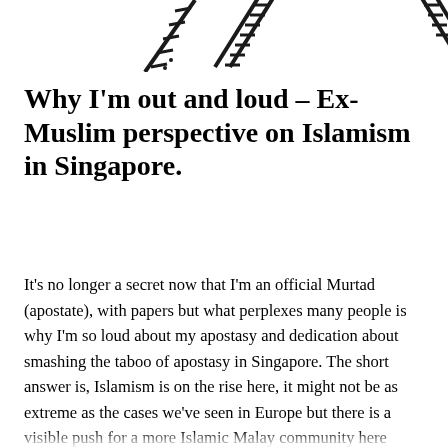[Figure (illustration): Decorative graphic elements at the top of the page, showing partial diagonal line/ladder-like shapes on a white background, cut off at the top edge.]
Why I'm out and loud – Ex-Muslim perspective on Islamism in Singapore.
It's no longer a secret now that I'm an official Murtad (apostate), with papers but what perplexes many people is why I'm so loud about my apostasy and dedication about smashing the taboo of apostasy in Singapore. The short answer is, Islamism is on the rise here, it might not be as extreme as the cases we've seen in Europe but there is a visible push for a more Islamic Malay community here whereby the Malay identity is interchangeable with the word Muslim. Soon enough, people like myself will be without an ethnicity due to the constitution and it's